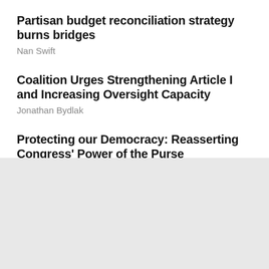Partisan budget reconciliation strategy burns bridges
Nan Swift
Coalition Urges Strengthening Article I and Increasing Oversight Capacity
Jonathan Bydlak
Protecting our Democracy: Reasserting Congress' Power of the Purse
William Gray